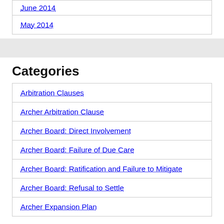June 2014
May 2014
Categories
Arbitration Clauses
Archer Arbitration Clause
Archer Board: Direct Involvement
Archer Board: Failure of Due Care
Archer Board: Ratification and Failure to Mitigate
Archer Board: Refusal to Settle
Archer Expansion Plan